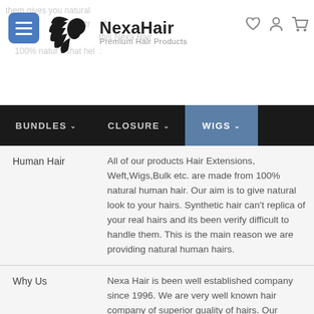[Figure (logo): NexaHair logo with woman silhouette and wind-blown hair, text 'NexaHair Premium Hair Products']
BUNDLES  CLOSURE  WIGS navigation bar
| Human Hair | All of our products Hair Extensions, Weft,Wigs,Bulk etc. are made from 100% natural human hair. Our aim is to give natural look to your hairs. Synthetic hair can't replica of your real hairs and its been verify difficult to handle them. This is the main reason we are providing natural human hairs. |
| Why Us | Nexa Hair is been well established company since 1996. We are very well known hair company of superior quality of hairs. Our products are highly appreciated among our clients for their natural look, tangle free, smooth texture, excellent finish, light weight and easily washable. |
Showing 1 to 12 of 12 entries
Body Wave Lace Front Wig 150 Density Lace